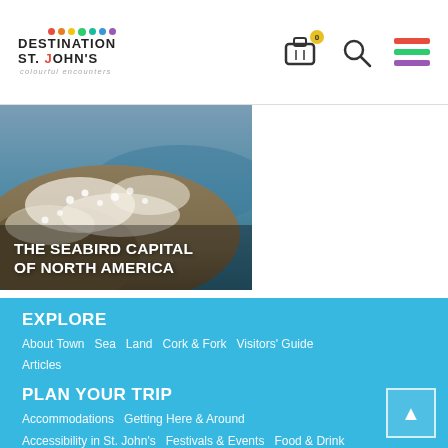[Figure (logo): Destination St. John's colourful encounters logo with coloured dots above text]
[Figure (photo): Seabirds (gannets/murres) crowded on rocky coastal cliffs with ocean in background]
THE SEABIRD CAPITAL OF NORTH AMERICA
EXPLORE
About Town   Sea   Land   Cork & Fork   Visitors' Guide
Articles
PLAN YOUR TRIP
Accommodations   Getting Here & Around
Accessibility in St. John's   Festivals & Events   Food & Drink